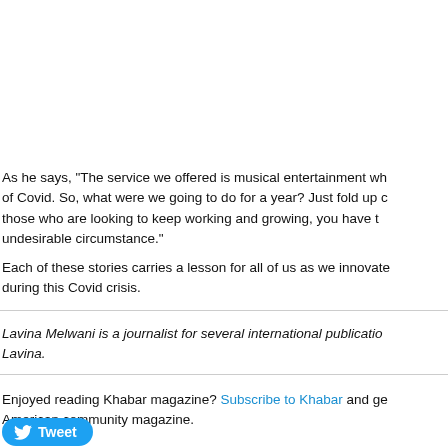As he says, “The service we offered is musical entertainment wh of Covid. So, what were we going to do for a year? Just fold up c those who are looking to keep working and growing, you have t undesirable circumstance.”
Each of these stories carries a lesson for all of us as we innovate during this Covid crisis.
Lavina Melwani is a journalist for several international publicatio Lavina.
Enjoyed reading Khabar magazine? Subscribe to Khabar and ge American community magazine.
[Figure (other): Tweet button with Twitter bird icon]